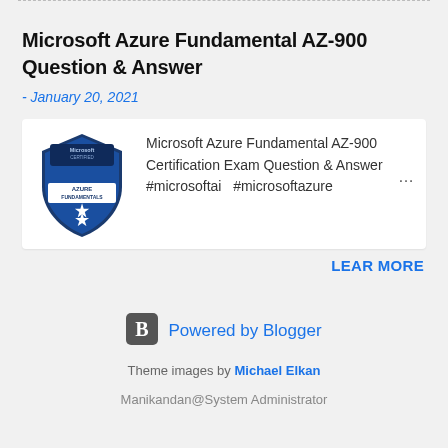Microsoft Azure Fundamental AZ-900 Question & Answer
- January 20, 2021
[Figure (logo): Microsoft Certified Azure Fundamentals badge - blue shield shape with star and ribbon]
Microsoft Azure Fundamental AZ-900 Certification Exam Question & Answer #microsoftai  #microsoftazure  ...
LEAR MORE
[Figure (logo): Blogger B logo icon in dark grey square]
Powered by Blogger
Theme images by Michael Elkan
Manikandan@System Administrator